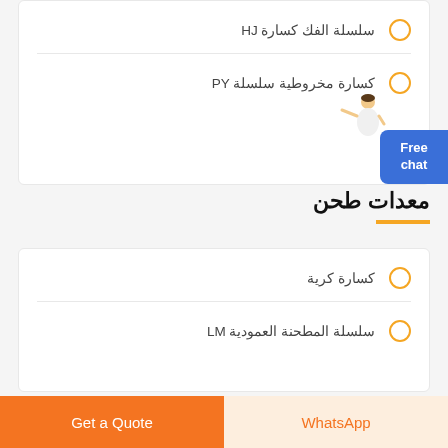سلسلة الفك كسارة HJ
كسارة مخروطية سلسلة PY
معدات طحن
كسارة كرية
سلسلة المطحنة العمودية LM